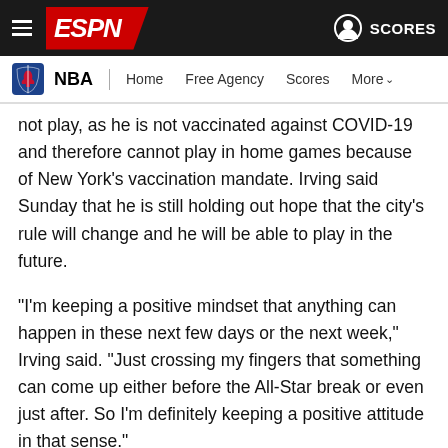ESPN — NBA | Home Free Agency Scores More
not play, as he is not vaccinated against COVID-19 and therefore cannot play in home games because of New York's vaccination mandate. Irving said Sunday that he is still holding out hope that the city's rule will change and he will be able to play in the future.
"I'm keeping a positive mindset that anything can happen in these next few days or the next week," Irving said. "Just crossing my fingers that something can come up either before the All-Star break or even just after. So I'm definitely keeping a positive attitude in that sense."
The Nets also continue to be without Kevin Durant. Nash said there is no specific timetable for Durant's return as he recovers from a sprained MCL in his left knee but that the Nets are